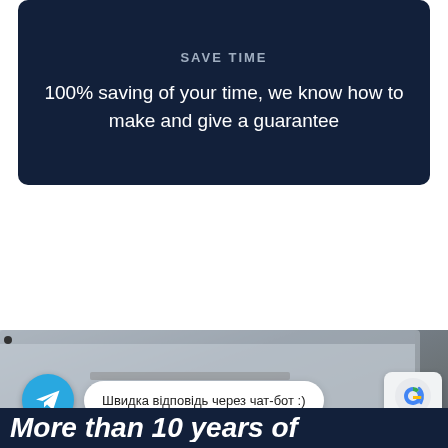Save time
100% saving of your time, we know how to make and give a guarantee
[Figure (photo): Laptop computer background photo with Telegram chatbot interface showing a message bubble in Ukrainian: 'Швидка відповідь через чат-бот :)' and a Google Maps badge in the corner]
More than 10 years of